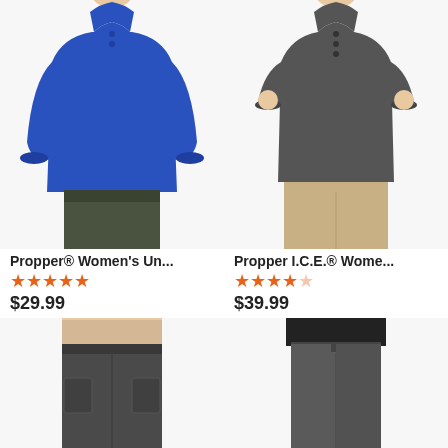[Figure (photo): Woman wearing a blue long-sleeve polo shirt with dark pants]
Propper® Women's Un...
★★★★½
$29.99
[Figure (photo): Woman wearing a dark grey short-sleeve polo shirt with khaki pants]
Propper I.C.E.® Wome...
★★★★☆
$39.99
[Figure (photo): Woman wearing dark grey cargo pants with a khaki top]
[Figure (photo): Woman wearing dark grey straight-leg pants with a black top]